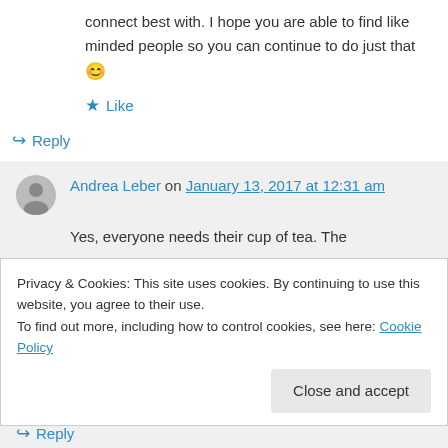connect best with. I hope you are able to find like minded people so you can continue to do just that 😊
★ Like
↪ Reply
Andrea Leber on January 13, 2017 at 12:31 am
Yes, everyone needs their cup of tea. The
Privacy & Cookies: This site uses cookies. By continuing to use this website, you agree to their use.
To find out more, including how to control cookies, see here: Cookie Policy
Close and accept
↪ Reply